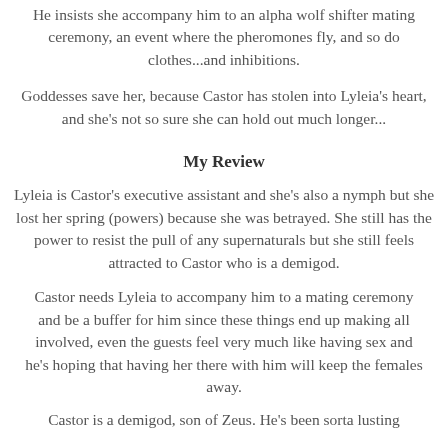He insists she accompany him to an alpha wolf shifter mating ceremony, an event where the pheromones fly, and so do clothes...and inhibitions.
Goddesses save her, because Castor has stolen into Lyleia's heart, and she's not so sure she can hold out much longer...
My Review
Lyleia is Castor's executive assistant and she's also a nymph but she lost her spring (powers) because she was betrayed. She still has the power to resist the pull of any supernaturals but she still feels attracted to Castor who is a demigod.
Castor needs Lyleia to accompany him to a mating ceremony and be a buffer for him since these things end up making all involved, even the guests feel very much like having sex and he's hoping that having her there with him will keep the females away.
Castor is a demigod, son of Zeus. He's been sorta lusting